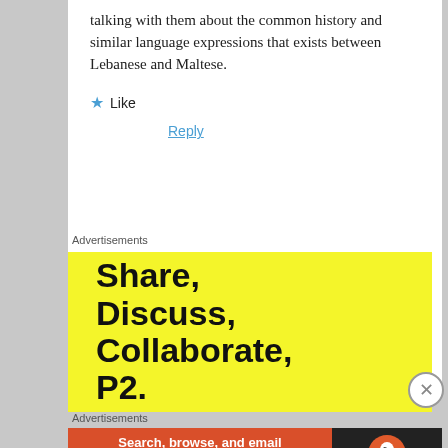talking with them about the common history and similar language expressions that exists between Lebanese and Maltese.
★ Like
Reply
Advertisements
[Figure (illustration): Yellow advertisement banner with bold black text reading: Share, Discuss, Collaborate, P2.]
Advertisements
[Figure (illustration): DuckDuckGo advertisement banner with orange and dark background. Text: Search, browse, and email with more privacy. All in One Free App. DuckDuckGo logo on right.]